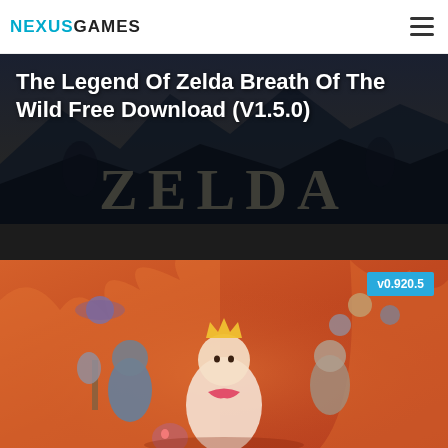NEXUSGAMES
The Legend Of Zelda Breath Of The Wild Free Download (V1.5.0)
[Figure (screenshot): Hero banner image with dark fantasy background showing partial 'ZELDA' text lettering, with the game title overlaid in white bold text]
[Figure (illustration): Colorful game cover art on orange/red background showing cartoon-style characters including a queen/princess figure in center, warriors with weapons, flying creatures. Version badge 'v0.920.5' shown in blue in top right corner.]